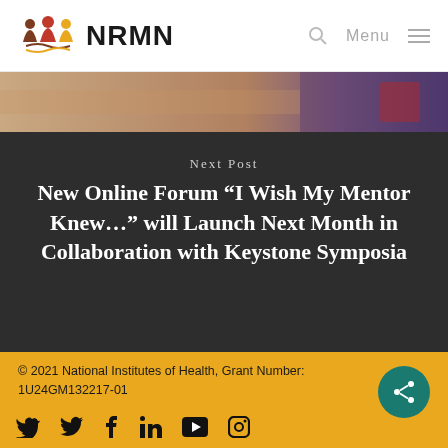NRMN
[Figure (photo): Partial photo of people, fading into dark background]
Next Post
New Online Forum “I Wish My Mentor Knew…” will Launch Next Month in Collaboration with Keystone Symposia
© 2021 National Institutes of Health, Grant Number: 1U24GM132217-01
[Figure (logo): Share button (teal circle with share icon)]
[Figure (infographic): Social media icons: Twitter, Facebook, LinkedIn, YouTube, Instagram]